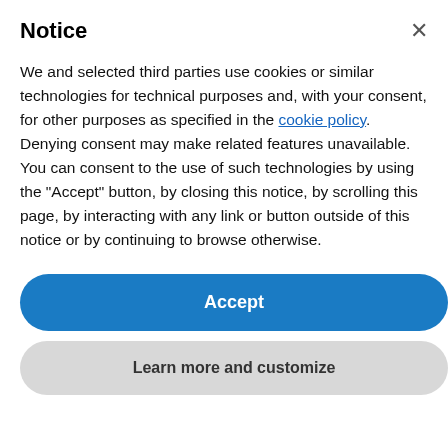Notice
We and selected third parties use cookies or similar technologies for technical purposes and, with your consent, for other purposes as specified in the cookie policy. Denying consent may make related features unavailable. You can consent to the use of such technologies by using the "Accept" button, by closing this notice, by scrolling this page, by interacting with any link or button outside of this notice or by continuing to browse otherwise.
Accept
Learn more and customize
March 2015
February 2015
We're offline
Leave a message